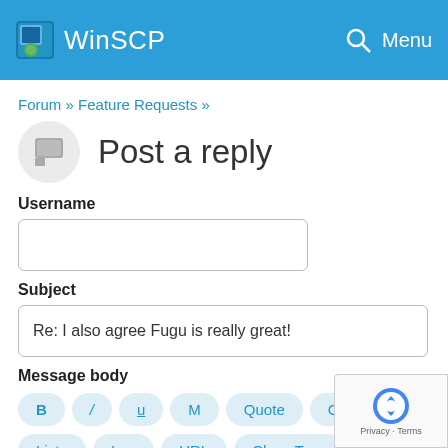WinSCP   Menu
Forum » Feature Requests »
Post a reply
Username
Subject
Re: I also agree Fugu is really great!
Message body
B  /  u  M  Quote  Code
List=  Img  URL  Close Tags